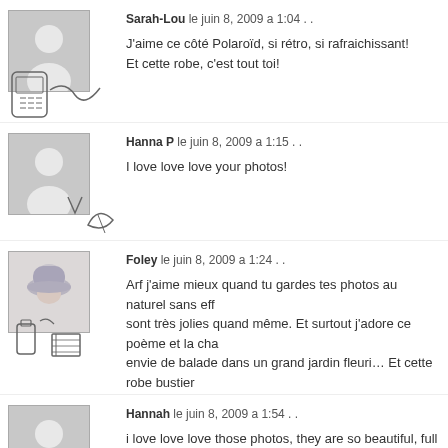Sarah-Lou le juin 8, 2009 a 1:04 . .
J'aime ce côté Polaroïd, si rétro, si rafraichissant! Et cette robe, c'est tout toi!
Hanna P le juin 8, 2009 a 1:15 . .
I love love love your photos!
Foley le juin 8, 2009 a 1:24 . .
Arf j'aime mieux quand tu gardes tes photos au naturel sans eff... sont très jolies quand même. Et surtout j'adore ce poème et la cha... envie de balade dans un grand jardin fleuri… Et cette robe bustier
Hannah le juin 8, 2009 a 1:54 . .
i love love love those photos, they are so beautiful, full of flower... for this time of year. i like your style :)